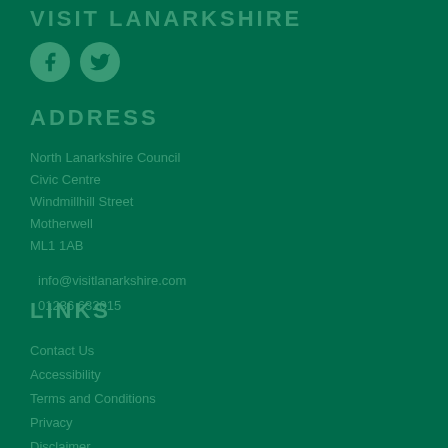VISIT LANARKSHIRE
[Figure (illustration): Two social media icons: Facebook (f) and Twitter (bird), rendered as dark green circles with darker green symbols]
ADDRESS
North Lanarkshire Council
Civic Centre
Windmillhill Street
Motherwell
ML1 1AB
info@visitlanarkshire.com
01236 632015
LINKS
Contact Us
Accessibility
Terms and Conditions
Privacy
Disclaimer